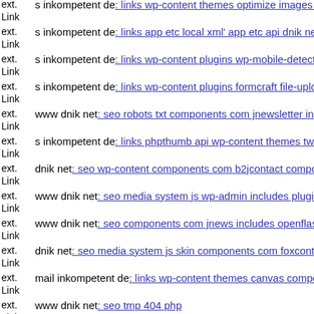ext. Link s inkompetent de: links wp-content themes optimize images s...
ext. Link s inkompetent de: links app etc local xml' app etc api dnik net
ext. Link s inkompetent de: links wp-content plugins wp-mobile-detector...
ext. Link s inkompetent de: links wp-content plugins formcraft file-uploa...
ext. Link www dnik net: seo robots txt components com jnewsletter incl...
ext. Link s inkompetent de: links phpthumb api wp-content themes twen...
ext. Link dnik net: seo wp-content components com b2jcontact compone...
ext. Link www dnik net: seo media system js wp-admin includes plugins...
ext. Link www dnik net: seo components com jnews includes openflasho...
ext. Link dnik net: seo media system js skin components com foxcontact...
ext. Link mail inkompetent de: links wp-content themes canvas compone...
ext. Link www dnik net: seo tmp 404 php